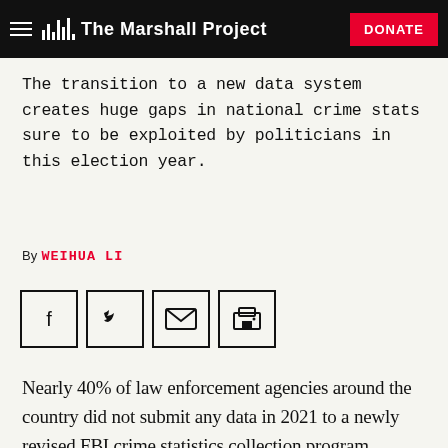The Marshall Project — DONATE
The transition to a new data system creates huge gaps in national crime stats sure to be exploited by politicians in this election year.
By WEIHUA LI
[Figure (other): Social share icons: Facebook, Twitter, Email, Print]
Nearly 40% of law enforcement agencies around the country did not submit any data in 2021 to a newly revised FBI crime statistics collection program, leaving a massive gap in information sure to be exploited by politicians in midterm